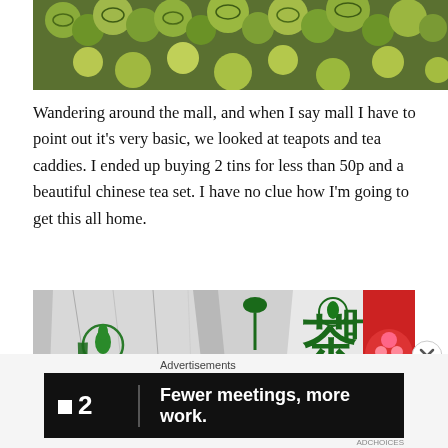[Figure (photo): Close-up photo of green tea balls/jasmine pearls, showing tightly rolled green tea leaves from above]
Wandering around the mall, and when I say mall I have to point out it’s very basic, we looked at teapots and tea caddies. I ended up buying 2 tins for less than 50p and a beautiful chinese tea set. I have no clue how I’m going to get this all home.
[Figure (photo): Photo of crinkled silver and green foil tea packaging bags with green plant logo, and a red tin box in the background]
Advertisements
[Figure (screenshot): Advertisement banner for '2' with text: Fewer meetings, more work.]